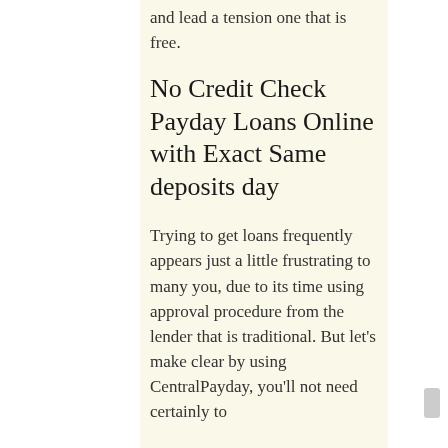and lead a tension one that is free.
No Credit Check Payday Loans Online with Exact Same deposits day
Trying to get loans frequently appears just a little frustrating to many you, due to its time using approval procedure from the lender that is traditional. But let's make clear by using CentralPayday, you'll not need certainly to